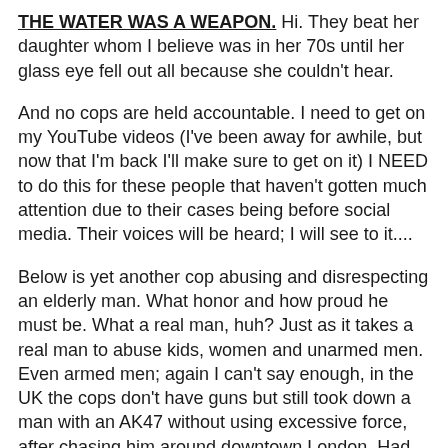THE WATER WAS A WEAPON. Hi. They beat her daughter whom I believe was in her 70s until her glass eye fell out all because she couldn't hear.
And no cops are held accountable. I need to get on my YouTube videos (I've been away for awhile, but now that I'm back I'll make sure to get on it) I NEED to do this for these people that haven't gotten much attention due to their cases being before social media. Their voices will be heard; I will see to it....
Below is yet another cop abusing and disrespecting an elderly man. What honor and how proud he must be. What a real man, huh? Just as it takes a real man to abuse kids, women and unarmed men. Even armed men; again I can't say enough, in the UK the cops don't have guns but still took down a man with an AK47 without using excessive force, after chasing him around downtown London. Had that been here, the man would have been shot as well as a few bystanders, thanks to our trigger